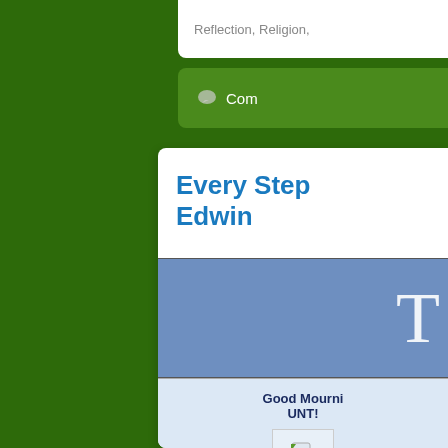Reflection, Religion,
Com
Every Step Edwin
[Figure (illustration): Book cover with blue/steel background and large white letter T]
Good Mourni UNT!
[Figure (photo): Small image placeholder with document icon]